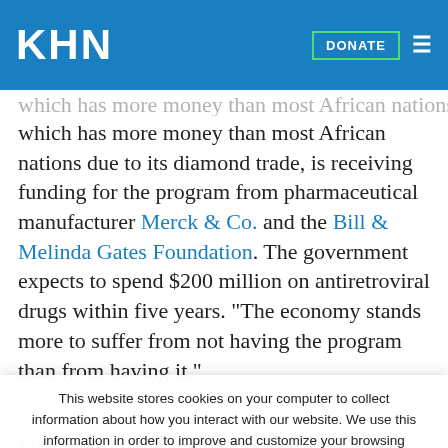KHN | DONATE
which has more money than most African nations due to its diamond trade, is receiving funding for the program from pharmaceutical manufacturer Merck & Co. and the Bill & Melinda Gates Foundation. The government expects to spend $200 million on antiretroviral drugs within five years. "The economy stands more to suffer from not having the program than from having it,"
This website stores cookies on your computer to collect information about how you interact with our website. We use this information in order to improve and customize your browsing experience and for analytics and metrics about our visitors both on this website and other media. To find out more about the cookies we use, see our Privacy Policy.
Accept